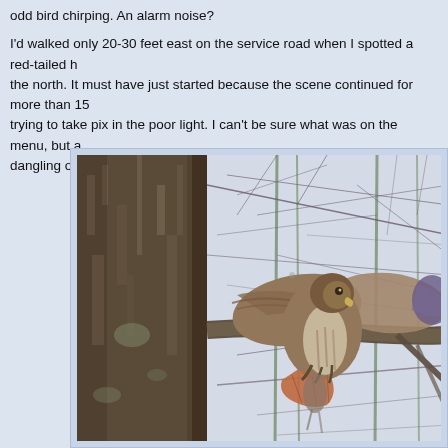odd bird chirping. An alarm noise?

I'd walked only 20-30 feet east on the service road when I spotted a red-tailed h the north. It must have just started because the scene continued for more than 15 trying to take pix in the poor light. I can't be sure what was on the menu, but a dangling over the branch suggested it was fresh squirrel.
[Figure (photo): A red-tailed hawk perched on a tree branch, partially obscured by bare winter branches and a large tree trunk on the left. The hawk appears to be feeding or mantling over prey. Photo taken in poor light in a wooded area.]